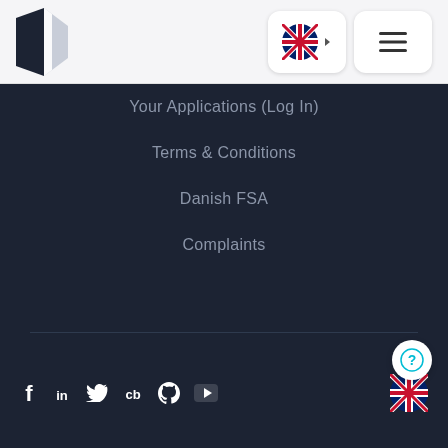[Figure (logo): Dark navy geometric logo (angular quadrilateral shape) for a financial services company]
[Figure (screenshot): UK flag circular button with arrow for language selection, and hamburger menu button]
Your Applications (Log In)
Terms & Conditions
Danish FSA
Complaints
[Figure (infographic): Social media icons: Facebook, LinkedIn, Twitter, Clutch, GitHub, YouTube in white on dark navy footer]
[Figure (logo): UK flag circular icon in footer for language selection]
[Figure (infographic): Circular help/question mark button with teal outline]